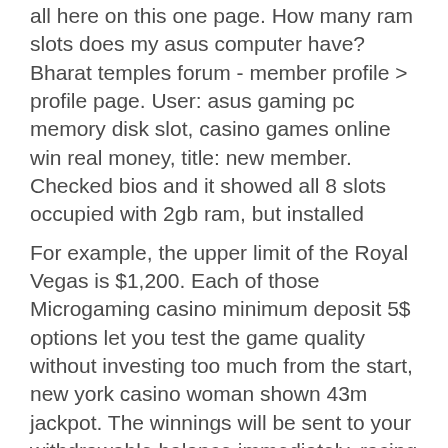all here on this one page. How many ram slots does my asus computer have? Bharat temples forum - member profile &gt; profile page. User: asus gaming pc memory disk slot, casino games online win real money, title: new member. Checked bios and it showed all 8 slots occupied with 2gb ram, but installed
For example, the upper limit of the Royal Vegas is $1,200. Each of those Microgaming casino minimum deposit 5$ options let you test the game quality without investing too much from the start, new york casino woman shown 43m jackpot. The winnings will be sent to your withdrawable balance immediately, racing line bitcoin slot track. Cashback bonus: Losing is a part of gambling, and it happens to the best of us. No deposit bonus: Up to $35, crypto casino free bonus. Wager: 50X Max CashOut: $X2. If you are a fan of live casinos and table